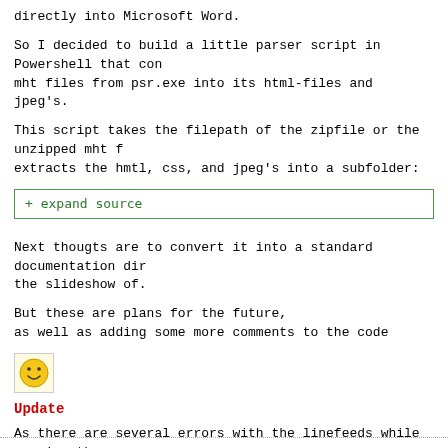directly into Microsoft Word.
So I decided to build a little parser script in Powershell that converts mht files from psr.exe into its html-files and jpeg's.
This script takes the filepath of the zipfile or the unzipped mht file and extracts the hmtl, css, and jpeg's into a subfolder:
+ expand source
Next thougts are to convert it into a standard documentation directory of the slideshow of.
But these are plans for the future,
as well as adding some more comments to the code
[Figure (illustration): Smiley face emoji icon, yellow circle with smile]
Update
As there are several errors with the linefeeds while copying the code, here you can download it as a .zip-File
psr.zip